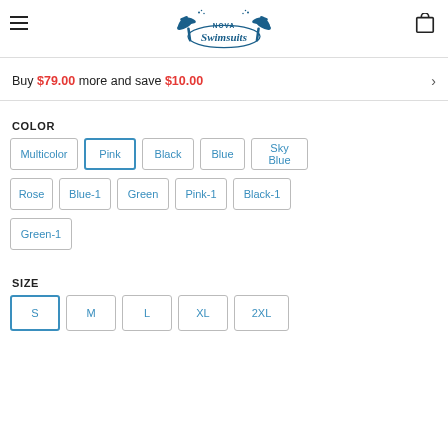Nova Swimsuits
Buy $79.00 more and save $10.00
COLOR
Multicolor
Pink
Black
Blue
Sky Blue
Rose
Blue-1
Green
Pink-1
Black-1
Green-1
SIZE
S
M
L
XL
2XL